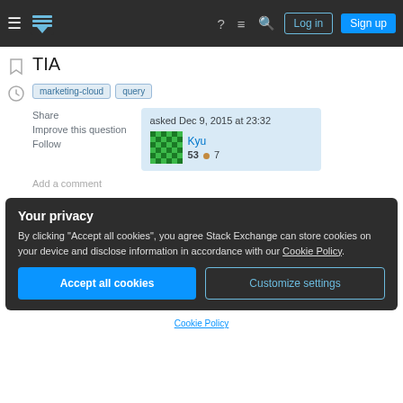Stack Exchange navigation header with Log in and Sign up buttons
TIA
marketing-cloud
query
Share
Improve this question
Follow
asked Dec 9, 2015 at 23:32
Kyu
53 ● 7
Add a comment
Your privacy
By clicking "Accept all cookies", you agree Stack Exchange can store cookies on your device and disclose information in accordance with our Cookie Policy.
Accept all cookies
Customize settings